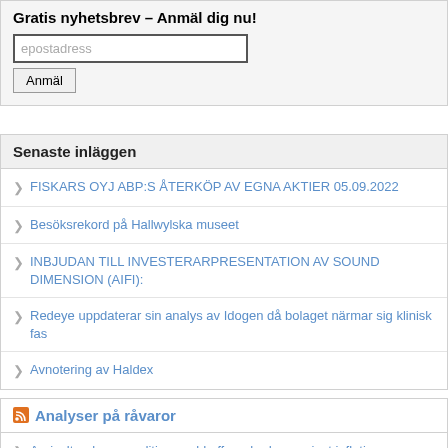Gratis nyhetsbrev – Anmäl dig nu!
epostadress
Anmäl
Senaste inläggen
FISKARS OYJ ABP:S ÅTERKÖP AV EGNA AKTIER 05.09.2022
Besöksrekord på Hallwylska museet
INBJUDAN TILL INVESTERARPRESENTATION AV SOUND DIMENSION (AIFI):
Redeye uppdaterar sin analys av Idogen då bolaget närmar sig klinisk fas
Avnotering av Haldex
Analyser på råvaror
Agricultural commodities could offer a hedge against inflation
SEB Commodities price outlook
Hur vos guelden gold?